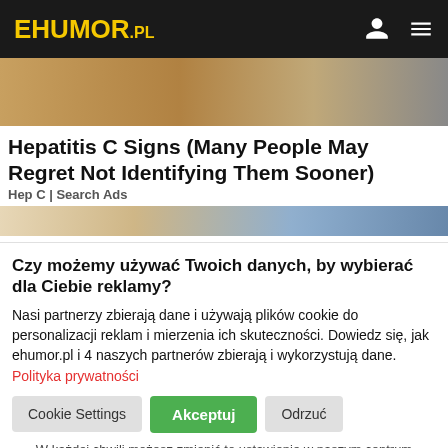EHUMOR.PL
[Figure (photo): Top banner photo showing hands/person, brownish warm tones]
Hepatitis C Signs (Many People May Regret Not Identifying Them Sooner)
Hep C | Search Ads
[Figure (photo): Bottom banner photo showing a person with blonde hair and blue clothing]
Czy możemy używać Twoich danych, by wybierać dla Ciebie reklamy?
Nasi partnerzy zbierają dane i używają plików cookie do personalizacji reklam i mierzenia ich skuteczności. Dowiedz się, jak ehumor.pl i 4 naszych partnerów zbierają i wykorzystują dane. Polityka prywatności
Cookie Settings | Akceptuj | Odrzuć
W każdej chwili możesz zmienić to ustawienie w naszym centrum prywatności.